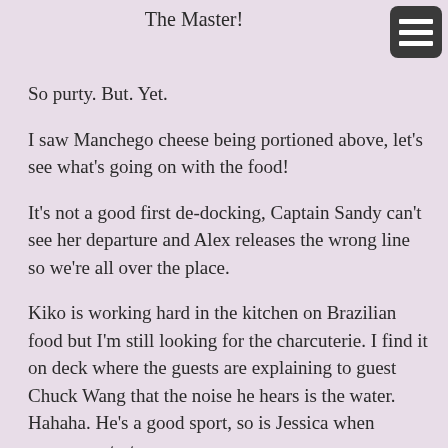The Master!
So purty. But. Yet.
I saw Manchego cheese being portioned above, let's see what's going on with the food!
It's not a good first de-docking, Captain Sandy can't see her departure and Alex releases the wrong line so we're all over the place.
Kiko is working hard in the kitchen on Brazilian food but I'm still looking for the charcuterie. I find it on deck where the guests are explaining to guest Chuck Wang that the noise he hears is the water. Hahaha. He's a good sport, so is Jessica when everyone starts